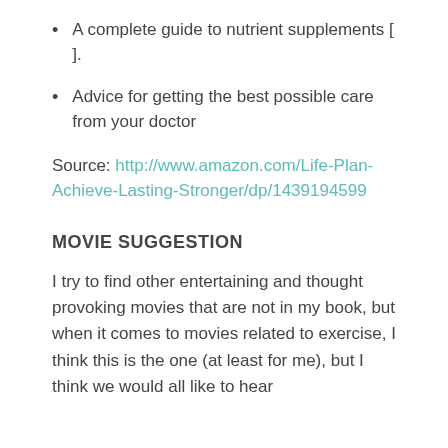A complete guide to nutrient supplements [ ].
Advice for getting the best possible care from your doctor
Source: http://www.amazon.com/Life-Plan-Achieve-Lasting-Stronger/dp/1439194599
MOVIE SUGGESTION
I try to find other entertaining and thought provoking movies that are not in my book, but when it comes to movies related to exercise, I think this is the one (at least for me), but I think we would all like to hear more suggestions from the next...